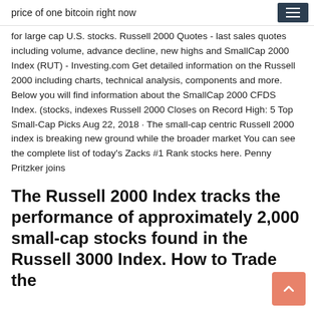price of one bitcoin right now
for large cap U.S. stocks. Russell 2000 Quotes - last sales quotes including volume, advance decline, new highs and SmallCap 2000 Index (RUT) - Investing.com Get detailed information on the Russell 2000 including charts, technical analysis, components and more. Below you will find information about the SmallCap 2000 CFDS Index. (stocks, indexes Russell 2000 Closes on Record High: 5 Top Small-Cap Picks Aug 22, 2018 · The small-cap centric Russell 2000 index is breaking new ground while the broader market You can see the complete list of today's Zacks #1 Rank stocks here. Penny Pritzker joins
The Russell 2000 Index tracks the performance of approximately 2,000 small-cap stocks found in the Russell 3000 Index. How to Trade the